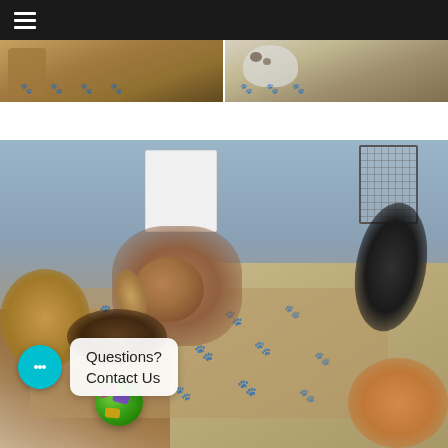Navigation menu (hamburger icon)
[Figure (photo): Two cropped photos at top: left shows a dog with paw print decorations on background, right shows a spotted dog/dalmatian with paw prints]
[Figure (photo): Large photo of multiple dogs playing together on a paw-print mat inside a dog daycare facility. A colorful snuffle ball toy is on the mat. Dogs include a brown/tan spaniel, a reddish merle spaniel, a black dog, and a golden/reddish dog.]
Questions? Contact Us